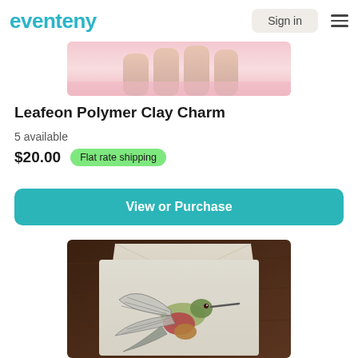eventeny
[Figure (photo): Close-up photo of hands holding a pink polymer clay piece, cropped at top]
Leafeon Polymer Clay Charm
5 available
$20.00  Flat rate shipping
View or Purchase
[Figure (photo): Photo of a hand-drawn hummingbird illustration/artwork on card stock, with envelope in background, on dark wood surface]